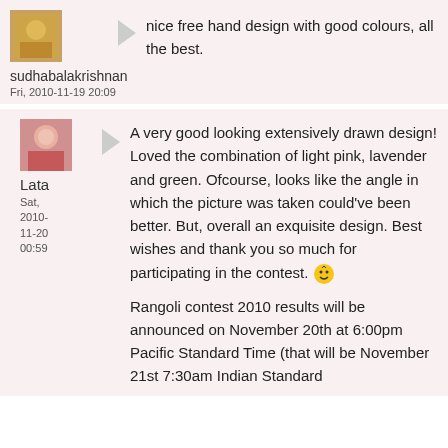[Figure (photo): Avatar image of sudhabalakrishnan - small decorative photo]
sudhabalakrishnan
Fri, 2010-11-19 20:09
nice free hand design with good colours, all the best.
[Figure (photo): Avatar image of Lata - woman's photo]
Lata
Sat, 2010-11-20 00:59
A very good looking extensively drawn design! Loved the combination of light pink, lavender and green. Ofcourse, looks like the angle in which the picture was taken could've been better. But, overall an exquisite design. Best wishes and thank you so much for participating in the contest.
Rangoli contest 2010 results will be announced on November 20th at 6:00pm Pacific Standard Time (that will be November 21st 7:30am Indian Standard